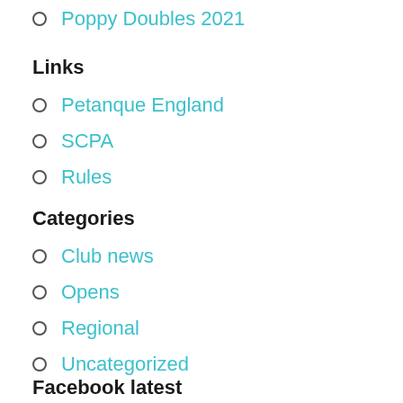Poppy Doubles 2021
Links
Petanque England
SCPA
Rules
Categories
Club news
Opens
Regional
Uncategorized
Facebook latest